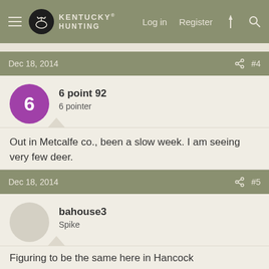Kentucky Hunting — Log in  Register
Dec 18, 2014  #4
6 point 92
6 pointer
Out in Metcalfe co., been a slow week. I am seeing very few deer.
Dec 18, 2014  #5
bahouse3
Spike
Figuring to be the same here in Hancock